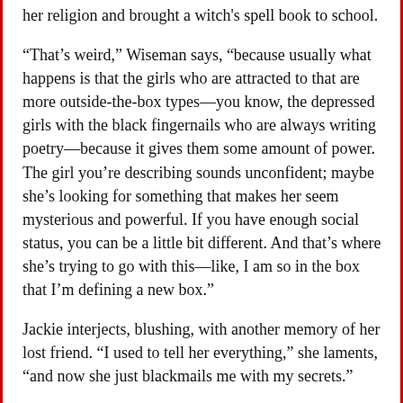her religion and brought a witch's spell book to school.
“That’s weird,” Wiseman says, “because usually what happens is that the girls who are attracted to that are more outside-the-box types—you know, the depressed girls with the black fingernails who are always writing poetry—because it gives them some amount of power. The girl you’re describing sounds unconfident; maybe she’s looking for something that makes her seem mysterious and powerful. If you have enough social status, you can be a little bit different. And that’s where she’s trying to go with this—like, I am so in the box that I’m defining a new box.”
Jackie interjects, blushing, with another memory of her lost friend. “I used to tell her everything,” she laments, “and now she just blackmails me with my secrets.”
“Sounds like she’s a Banker,” Wiseman says. “That means that she collects information and uses it later to her